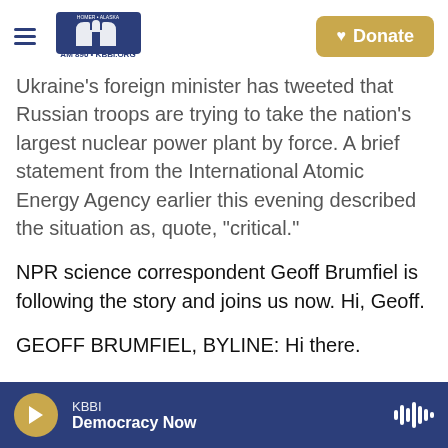KBBI AM 890 | KBBI.ORG Homer Alaska — Donate
Ukraine's foreign minister has tweeted that Russian troops are trying to take the nation's largest nuclear power plant by force. A brief statement from the International Atomic Energy Agency earlier this evening described the situation as, quote, "critical."
NPR science correspondent Geoff Brumfiel is following the story and joins us now. Hi, Geoff.
GEOFF BRUMFIEL, BYLINE: Hi there.
SHAPIRO: What's the latest at this site right now?
BRUMFIEL: Well, according to the IAEA, Russian
KBBI — Democracy Now